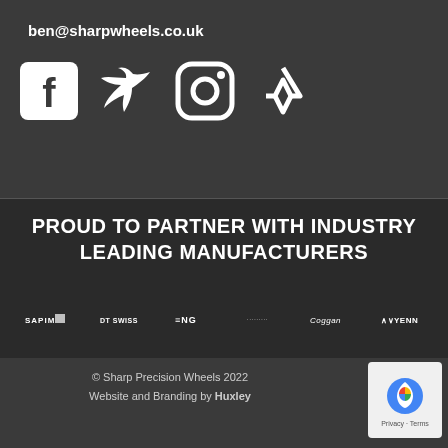ben@sharpwheels.co.uk
[Figure (illustration): Social media icons: Facebook, Twitter, Instagram, Strava (activity tracker) in white on dark background]
PROUD TO PARTNER WITH INDUSTRY LEADING MANUFACTURERS
[Figure (illustration): Partner brand logos in a row: SAPIM, DT SWISS, ENVE, unknown brand, Coggan, VENN]
© Sharp Precision Wheels 2022
Website and Branding by Huxley
[Figure (logo): reCAPTCHA badge with Privacy - Terms text]